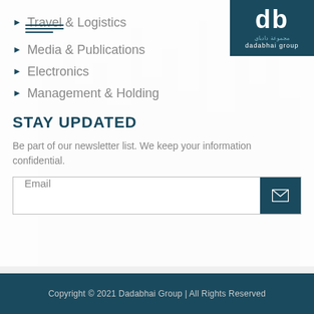[Figure (logo): Dadabhai Group logo — 'db' in white on dark teal background, with Arabic text and 'dadabhai group' in white]
Travel & Logistics
Media & Publications
Electronics
Management & Holding
STAY UPDATED
Be part of our newsletter list. We keep your information confidential.
Email
Copyright © 2021 Dadabhai Group | All Rights Reserved